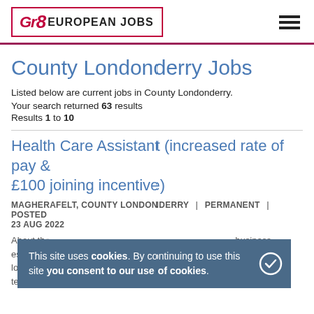Gr8 EUROPEAN JOBS
County Londonderry Jobs
Listed below are current jobs in County Londonderry.
Your search returned 63 results
Results 1 to 10
Health Care Assistant (increased rate of pay & £100 joining incentive)
MAGHERAFELT, COUNTY LONDONDERRY | PERMANENT | POSTED 23 AUG 2022
About the ... business established ... enjoy longsta...tion for the delivery of quality care and for their teams of dedicated, trained staff who put clients...
This site uses cookies. By continuing to use this site you consent to our use of cookies.